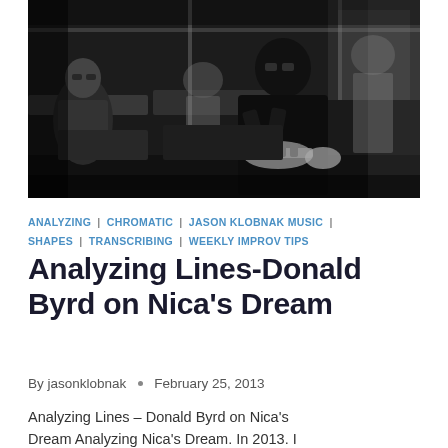[Figure (photo): Black and white photograph of a jazz musician playing trumpet on a subway train, with other passengers seated around him]
ANALYZING | CHROMATIC | JASON KLOBNAK MUSIC | SHAPES | TRANSCRIBING | WEEKLY IMPROV TIPS
Analyzing Lines-Donald Byrd on Nica's Dream
By jasonklobnak • February 25, 2013
Analyzing Lines – Donald Byrd on Nica's Dream Analyzing Nica's Dream. In 2013. I